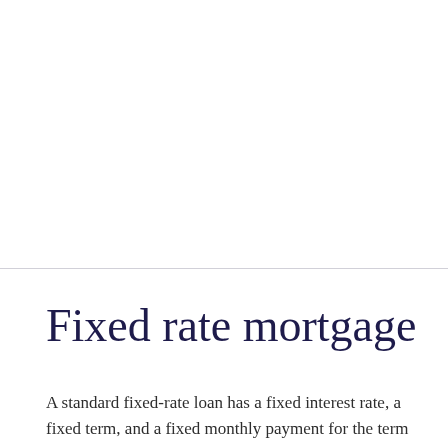Fixed rate mortgage
A standard fixed-rate loan has a fixed interest rate, a fixed term, and a fixed monthly payment for the term of the loan,